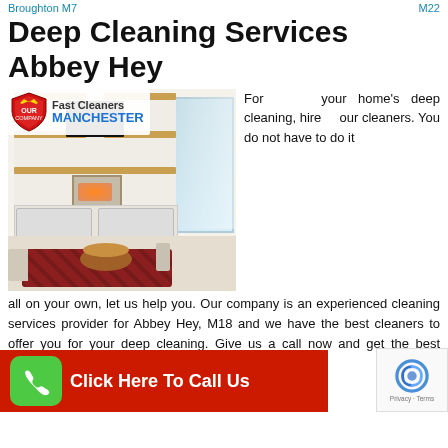Broughton M7   M22
Deep Cleaning Services Abbey Hey
[Figure (photo): Interior photo of a clean modern living room with white shelving, wall-mounted TV, fireplace, large window, patterned rug, and round coffee table. Fast Cleaners Manchester logo overlaid top-left.]
For your home's deep cleaning, hire our cleaners. You do not have to do it all on your own, let us help you. Our company is an experienced cleaning services provider for Abbey Hey, M18 and we have the best cleaners to offer you for your deep cleaning. Give us a call now and get the best cleaning services from our cleaners.
[Figure (other): Red call-to-action button bar with green phone icon and text 'Click Here To Call Us']
[Figure (other): Google reCAPTCHA badge with Privacy and Terms links]